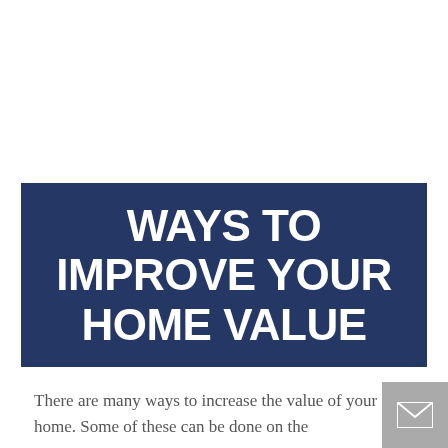WAYS TO IMPROVE YOUR HOME VALUE
There are many ways to increase the value of your home. Some of these can be done on the